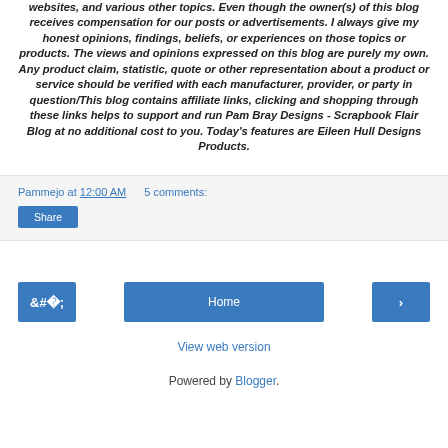websites, and various other topics. Even though the owner(s) of this blog receives compensation for our posts or advertisements. I always give my honest opinions, findings, beliefs, or experiences on those topics or products. The views and opinions expressed on this blog are purely my own. Any product claim, statistic, quote or other representation about a product or service should be verified with each manufacturer, provider, or party in question/This blog contains affiliate links, clicking and shopping through these links helps to support and run Pam Bray Designs - Scrapbook Flair Blog at no additional cost to you. Today's features are Eileen Hull Designs Products.
Pammejo at 12:00 AM   5 comments:
Share
‹
Home
›
View web version
Powered by Blogger.